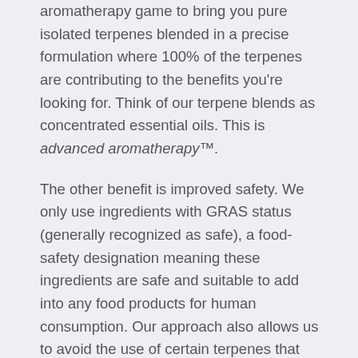aromatherapy game to bring you pure isolated terpenes blended in a precise formulation where 100% of the terpenes are contributing to the benefits you're looking for. Think of our terpene blends as concentrated essential oils. This is advanced aromatherapy™.
The other benefit is improved safety. We only use ingredients with GRAS status (generally recognized as safe), a food-safety designation meaning these ingredients are safe and suitable to add into any food products for human consumption. Our approach also allows us to avoid the use of certain terpenes that can be more problematic (the reason why certain essential oils shouldn't be administered to children).
Ingredients
Cannanda's proprietary HA terpene blend (100%